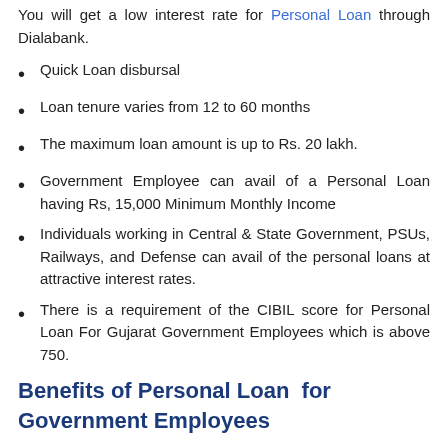You will get a low interest rate for Personal Loan through Dialabank.
Quick Loan disbursal
Loan tenure varies from 12 to 60 months
The maximum loan amount is up to Rs. 20 lakh.
Government Employee can avail of a Personal Loan having Rs, 15,000 Minimum Monthly Income
Individuals working in Central & State Government, PSUs, Railways, and Defense can avail of the personal loans at attractive interest rates.
There is a requirement of the CIBIL score for Personal Loan For Gujarat Government Employees which is above 750.
Benefits of Personal Loan  for Government Employees